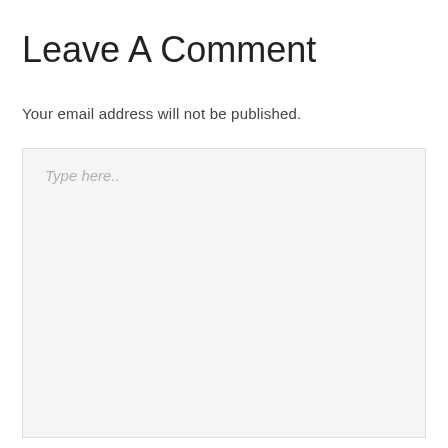Leave A Comment
Your email address will not be published.
[Figure (screenshot): A large comment text area input box with placeholder text 'Type here..' on a light gray background with a light border.]